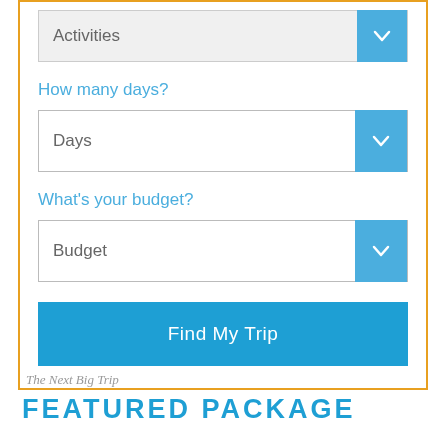[Figure (screenshot): A web form UI with orange border containing dropdown selectors for Activities, Days, and Budget, plus a Find My Trip button]
Activities
How many days?
Days
What's your budget?
Budget
Find My Trip
The Next Big Trip
FEATURED PACKAGE